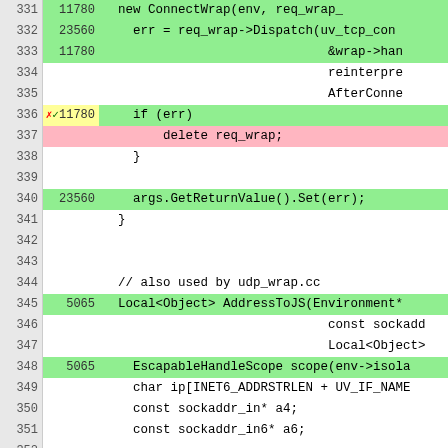[Figure (screenshot): Code coverage viewer showing C++ source code lines 331-357 with line numbers, hit counts, and color-coded coverage (green=covered, pink=uncovered, white=not executable). Code includes TCP connection dispatch, error handling, AddressToJS function definition, and sockaddr handling.]